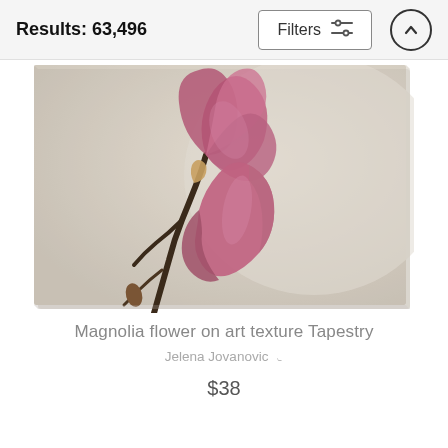Results: 63,496
[Figure (photo): A tapestry product showing two pink magnolia flower buds on an art texture background. The tapestry has a slightly draped/hanging appearance with a muted, vintage-style background.]
Magnolia flower on art texture Tapestry
Jelena Jovanovic ♡
$38